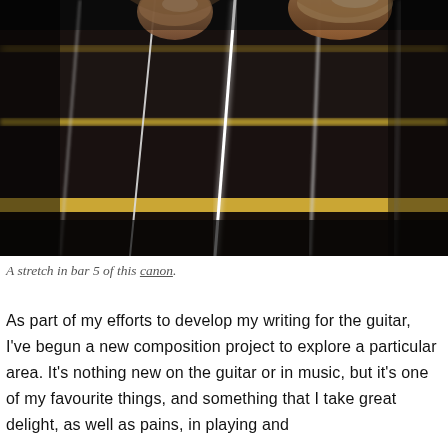[Figure (photo): Close-up photograph of fingers pressing guitar strings on a fretboard, showing the strings and gold frets in sharp detail against a dark background.]
A stretch in bar 5 of this canon.
As part of my efforts to develop my writing for the guitar, I've begun a new composition project to explore a particular area. It's nothing new on the guitar or in music, but it's one of my favourite things, and something that I take great delight, as well as pains, in playing and